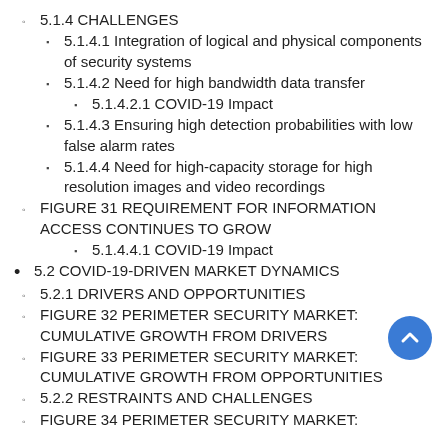5.1.4 CHALLENGES
5.1.4.1 Integration of logical and physical components of security systems
5.1.4.2 Need for high bandwidth data transfer
5.1.4.2.1 COVID-19 Impact
5.1.4.3 Ensuring high detection probabilities with low false alarm rates
5.1.4.4 Need for high-capacity storage for high resolution images and video recordings
FIGURE 31 REQUIREMENT FOR INFORMATION ACCESS CONTINUES TO GROW
5.1.4.4.1 COVID-19 Impact
5.2 COVID-19-DRIVEN MARKET DYNAMICS
5.2.1 DRIVERS AND OPPORTUNITIES
FIGURE 32 PERIMETER SECURITY MARKET: CUMULATIVE GROWTH FROM DRIVERS
FIGURE 33 PERIMETER SECURITY MARKET: CUMULATIVE GROWTH FROM OPPORTUNITIES
5.2.2 RESTRAINTS AND CHALLENGES
FIGURE 34 PERIMETER SECURITY MARKET: